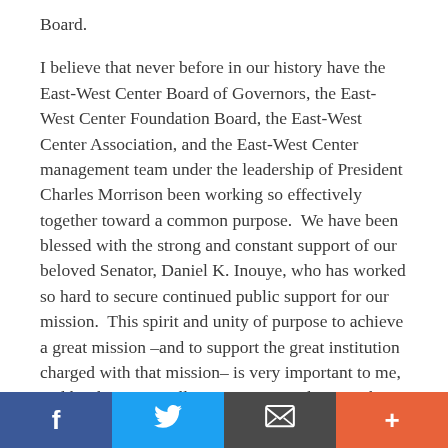Board.
I believe that never before in our history have the East-West Center Board of Governors, the East-West Center Foundation Board, the East-West Center Association, and the East-West Center management team under the leadership of President Charles Morrison been working so effectively together toward a common purpose.  We have been blessed with the strong and constant support of our beloved Senator, Daniel K. Inouye, who has worked so hard to secure continued public support for our mission.  This spirit and unity of purpose to achieve a great mission –and to support the great institution charged with that mission– is very important to me, and has been critically important in achieving the stability, growth, and recognition the Center now enjoys.
With its accomplishments and progress, EWCA is now an indispensable partner in the Center's mission to build a
Facebook | Twitter | Email | More